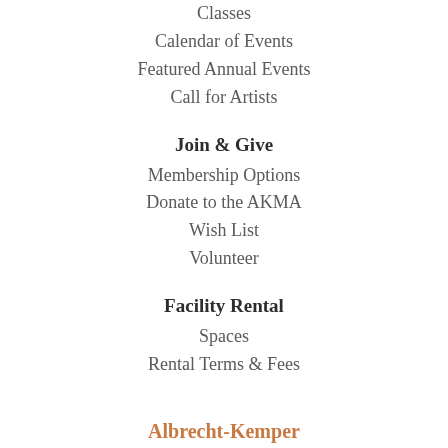Classes
Calendar of Events
Featured Annual Events
Call for Artists
Join & Give
Membership Options
Donate to the AKMA
Wish List
Volunteer
Facility Rental
Spaces
Rental Terms & Fees
Albrecht-Kemper Museum of Art